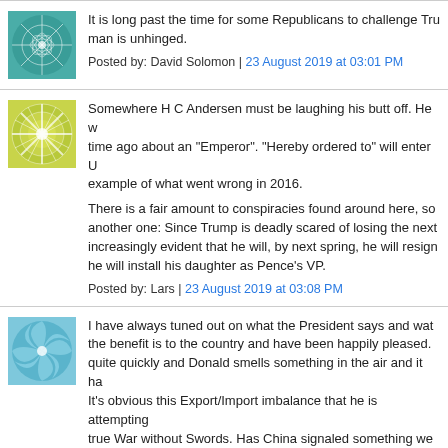It is long past the time for some Republicans to challenge Tru... man is unhinged.
Posted by: David Solomon | 23 August 2019 at 03:01 PM
Somewhere H C Andersen must be laughing his butt off. He w... time ago about an "Emperor". "Hereby ordered to" will enter U... example of what went wrong in 2016.

There is a fair amount to conspiracies found around here, so... another one: Since Trump is deadly scared of losing the next... increasingly evident that he will, by next spring, he will resign... he will install his daughter as Pence's VP.
Posted by: Lars | 23 August 2019 at 03:08 PM
I have always tuned out on what the President says and wat... the benefit is to the country and have been happily pleased.... quite quickly and Donald smells something in the air and it ha... It's obvious this Export/Import imbalance that he is attempting... true War without Swords. Has China signaled something we a...